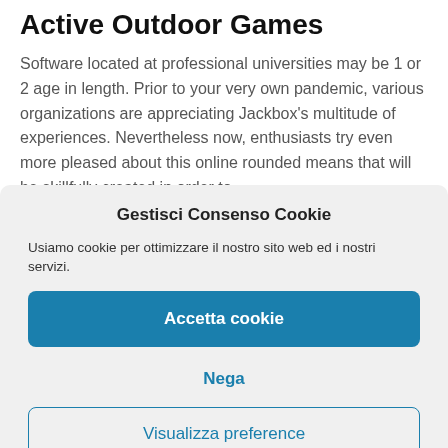Active Outdoor Games
Software located at professional universities may be 1 or 2 age in length. Prior to your very own pandemic, various organizations are appreciating Jackbox's multitude of experiences. Nevertheless now, enthusiasts try even more pleased about this online rounded means that will be skillfully created in order to
Gestisci Consenso Cookie
Usiamo cookie per ottimizzare il nostro sito web ed i nostri servizi.
Accetta cookie
Nega
Visualizza preference